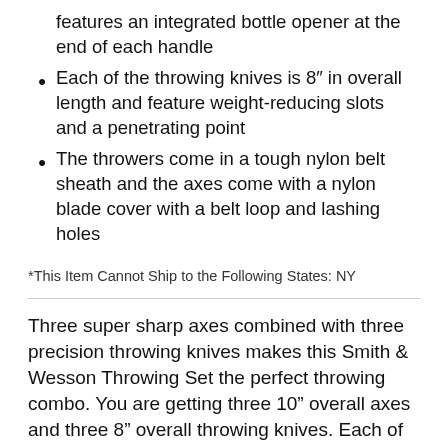features an integrated bottle opener at the end of each handle
Each of the throwing knives is 8" in overall length and feature weight-reducing slots and a penetrating point
The throwers come in a tough nylon belt sheath and the axes come with a nylon blade cover with a belt loop and lashing holes
*This Item Cannot Ship to the Following States: NY
Three super sharp axes combined with three precision throwing knives makes this Smith & Wesson Throwing Set the perfect throwing combo. You are getting three 10” overall axes and three 8” overall throwing knives. Each of the six throwing